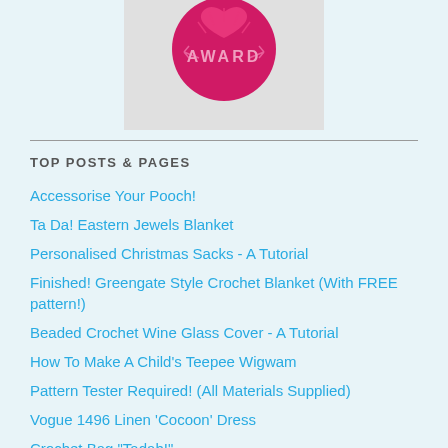[Figure (illustration): Award badge/medallion in pink/magenta with scalloped edges and the word AWARD on it, partially cropped at top]
TOP POSTS & PAGES
Accessorise Your Pooch!
Ta Da! Eastern Jewels Blanket
Personalised Christmas Sacks - A Tutorial
Finished! Greengate Style Crochet Blanket (With FREE pattern!)
Beaded Crochet Wine Glass Cover - A Tutorial
How To Make A Child's Teepee Wigwam
Pattern Tester Required! (All Materials Supplied)
Vogue 1496 Linen 'Cocoon' Dress
Crochet Bag "Tadah!"
Greengate Style Baby & Toddler Girls Crochet Poncho